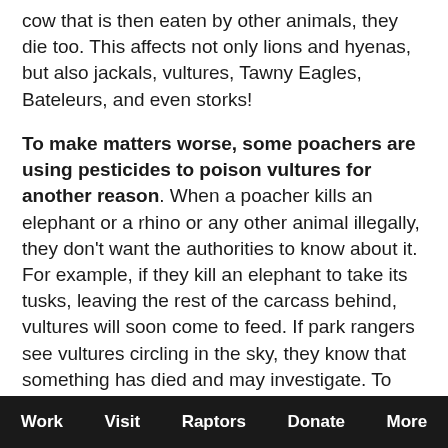cow that is then eaten by other animals, they die too. This affects not only lions and hyenas, but also jackals, vultures, Tawny Eagles, Bateleurs, and even storks!
To make matters worse, some poachers are using pesticides to poison vultures for another reason. When a poacher kills an elephant or a rhino or any other animal illegally, they don't want the authorities to know about it. For example, if they kill an elephant to take its tusks, leaving the rest of the carcass behind, vultures will soon come to feed. If park rangers see vultures circling in the sky, they know that something has died and may investigate. To cover up their crimes, poachers lace the carcass of the animal with a pesticide. When vultures come down to feed,
Work   Visit   Raptors   Donate   More